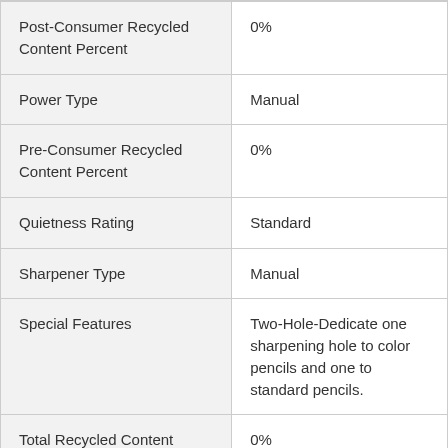| Attribute | Value |
| --- | --- |
| Post-Consumer Recycled Content Percent | 0% |
| Power Type | Manual |
| Pre-Consumer Recycled Content Percent | 0% |
| Quietness Rating | Standard |
| Sharpener Type | Manual |
| Special Features | Two-Hole-Dedicate one sharpening hole to color pencils and one to standard pencils. |
| Total Recycled Content Percent | 0% |